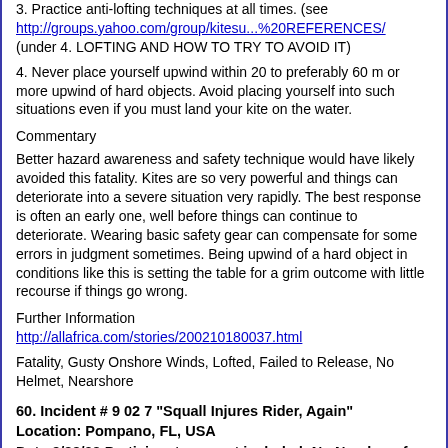3. Practice anti-lofting techniques at all times. (see http://groups.yahoo.com/group/kitesu...%20REFERENCES/ (under 4. LOFTING AND HOW TO TRY TO AVOID IT)
4. Never place yourself upwind within 20 to preferably 60 m or more upwind of hard objects. Avoid placing yourself into such situations even if you must land your kite on the water.
Commentary
Better hazard awareness and safety technique would have likely avoided this fatality. Kites are so very powerful and things can deteriorate into a severe situation very rapidly. The best response is often an early one, well before things can continue to deteriorate. Wearing basic safety gear can compensate for some errors in judgment sometimes. Being upwind of a hard object in conditions like this is setting the table for a grim outcome with little recourse if things go wrong.
Further Information
http://allafrica.com/stories/200210180037.html
Fatality, Gusty Onshore Winds, Lofted, Failed to Release, No Helmet, Nearshore
60. Incident # 9 02 7 "Squall Injures Rider, Again"
Location: Pompano, FL, USA
Date:9/29/02 Participant account included: No Number of independent accounts: 3